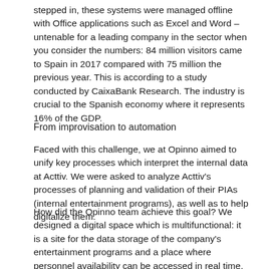stepped in, these systems were managed offline with Office applications such as Excel and Word – untenable for a leading company in the sector when you consider the numbers: 84 million visitors came to Spain in 2017 compared with 75 million the previous year. This is according to a study conducted by CaixaBank Research. The industry is crucial to the Spanish economy where it represents 16% of the GDP.
From improvisation to automation
Faced with this challenge, we at Opinno aimed to unify key processes which interpret the internal data at Acttiv. We were asked to analyze Acttiv's processes of planning and validation of their PIAs (internal entertainment programs), as well as to help digitalize them.
How did the Opinno team achieve this goal? We designed a digital space which is multifunctional: it is a site for the data storage of the company's entertainment programs and a place where personnel availability can be accessed in real time. A digital space all those involved in the management of this leader-in-the- sector can share.